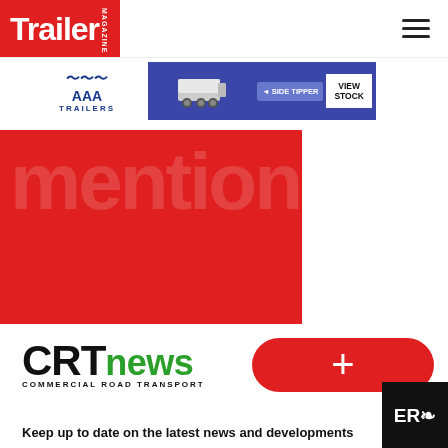[Figure (logo): Trailer Magazine logo — white text on red background, with 'MAGAZINE' in small vertical text]
[Figure (logo): AAA Trailers advertisement banner — blue background with AAA Trailers logo, side tipper trailer image, 'SIDE TIPPER' label and 'VIEW STOCK' button]
[Figure (photo): Partially visible red background image — appears to be a cropped article hero image with large faint text overlay]
[Figure (logo): CRT news (Commercial Road Transport) logo — 'CRT' in black bold, 'news' in green, subtitle 'COMMERCIAL ROAD TRANSPORT']
[Figure (other): Red rounded pill-shape button with a white plus (+) symbol]
[Figure (other): Black square badge with 'ER' text and cursor icon — likely an accessibility or reader mode button]
Keep up to date on the latest news and developments